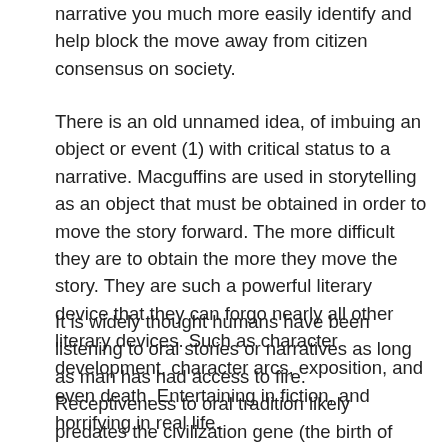narrative you much more easily identify and help block the move away from citizen consensus on society.
There is an old unnamed idea, of imbuing an object or event (1) with critical status to a narrative. Macguffins are used in storytelling as an object that must be obtained in order to move the story forward. The more difficult they are to obtain the more they move the story. They are such a powerful literary device that they can forgo nearly all other literary devices. Such as character development, character arcs, exposition, and even death. Entertaining in fiction, and horrifying in real life.
It is widely thought humans have been listening to oral stories or narratives as long as man has had access to fire. Receptiveness to oral tradition likely predates the civilization gene (the birth of villages and cities) for example. Today in the United States people spend 6% of their income on entertainment. A majority of that is story driven. Narratives